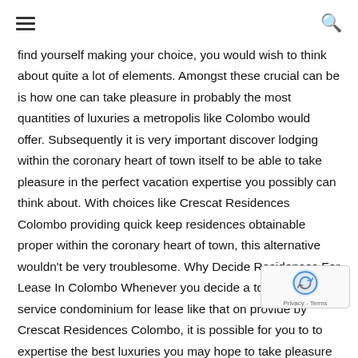☰  🔍
find yourself making your choice, you would wish to think about quite a lot of elements. Amongst these crucial can be is how one can take pleasure in probably the most quantities of luxuries a metropolis like Colombo would offer. Subsequently it is very important discover lodging within the coronary heart of town itself to be able to take pleasure in the perfect vacation expertise you possibly can think about. With choices like Crescat Residences Colombo providing quick keep residences obtainable proper within the coronary heart of town, this alternative wouldn't be very troublesome. Why Decide Residences For Lease In Colombo Whenever you decide a top quality service condominium for lease like that on provide by Crescat Residences Colombo, it is possible for you to to expertise the best luxuries you may hope to take pleasure in throughout your trip to Sri Lanka. Combining all of the luxuries a 5 star resort would of the added consolation of attending to reside in a extra spaci space, you'll not need to compromise on luxuries you have been